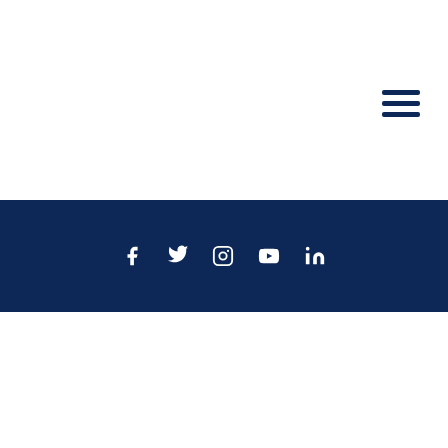[Figure (other): Hamburger menu icon (three horizontal dark navy lines) in top-right area]
[Figure (other): Dark navy banner with social media icons: Facebook (f), Twitter (bird), Instagram (camera), YouTube (play button), LinkedIn (in)]
Blue World City Overseas Block 7-Marla